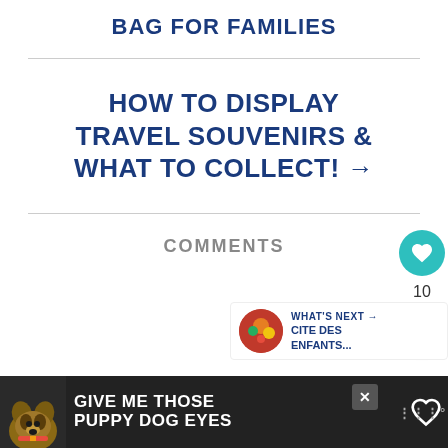BAG FOR FAMILIES
HOW TO DISPLAY TRAVEL SOUVENIRS & WHAT TO COLLECT! →
COMMENTS
WHAT'S NEXT → CITE DES ENFANTS...
[Figure (other): Advertisement banner: dog image with text GIVE ME THOSE PUPPY DOG EYES]